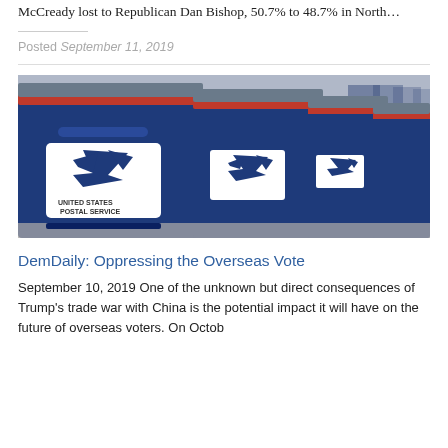McCready lost to Republican Dan Bishop, 50.7% to 48.7% in North…
Posted September 11, 2019
[Figure (photo): Row of blue United States Postal Service (USPS) mailboxes with red accent stripes and USPS eagle logos]
DemDaily: Oppressing the Overseas Vote
September 10, 2019 One of the unknown but direct consequences of Trump's trade war with China is the potential impact it will have on the future of overseas voters. On Octob…